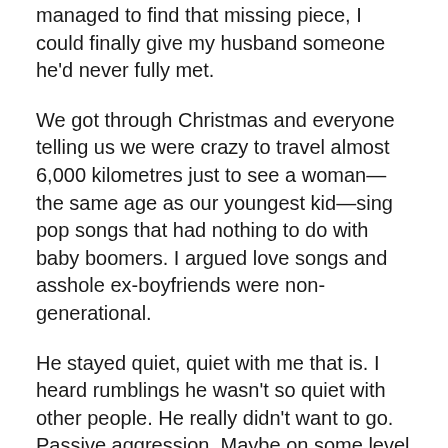managed to find that missing piece, I could finally give my husband someone he'd never fully met.
We got through Christmas and everyone telling us we were crazy to travel almost 6,000 kilometres just to see a woman—the same age as our youngest kid—sing pop songs that had nothing to do with baby boomers. I argued love songs and asshole ex-boyfriends were non-generational.
He stayed quiet, quiet with me that is. I heard rumblings he wasn't so quiet with other people. He really didn't want to go. Passive aggression. Maybe on some level he did get it. Maybe he just didn't want to believe Adele's devastated ballads and fuck-you anthems had anything to do with me.
Our departure date arrived. We checked our bags and